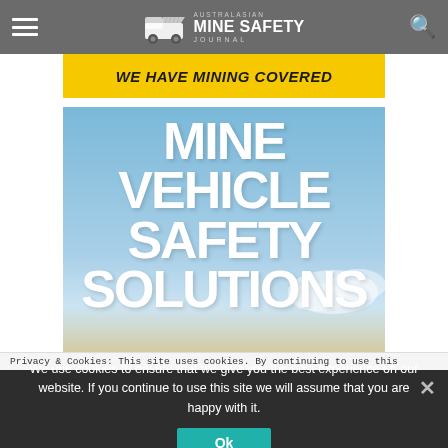Australasian Mine Safety Journal
[Figure (illustration): Yellow banner reading WE HAVE MINING COVERED]
[Figure (illustration): Advertisement image with sky background reading MINE VEHICLE SAFETY SOLUTIONS in large white bold text]
Privacy & Cookies: This site uses cookies. By continuing to use this
We use cookies to ensure that we give you the best experience on our website. If you continue to use this site we will assume that you are happy with it.
Ok